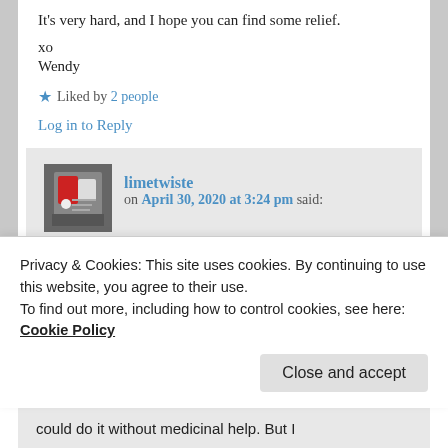It's very hard, and I hope you can find some relief.
xo
Wendy
★ Liked by 2 people
Log in to Reply
limetwiste on April 30, 2020 at 3:24 pm said:
Thanks Wendy❤ I hope you didn't feel like I was putting a dampener on your post Joy. Keep posting with photos please.
Privacy & Cookies: This site uses cookies. By continuing to use this website, you agree to their use.
To find out more, including how to control cookies, see here: Cookie Policy
Close and accept
could do it without medicinal help. But I